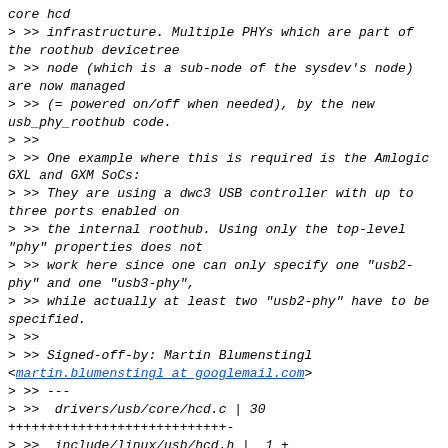core hcd
> >> infrastructure. Multiple PHYs which are part of the roothub devicetree
> >> node (which is a sub-node of the sysdev's node) are now managed
> >> (= powered on/off when needed), by the new usb_phy_roothub code.
> >>
> >> One example where this is required is the Amlogic GXL and GXM SoCs:
> >> They are using a dwc3 USB controller with up to three ports enabled on
> >> the internal roothub. Using only the top-level "phy" properties does not
> >> work here since one can only specify one "usb2-phy" and one "usb3-phy",
> >> while actually at least two "usb2-phy" have to be specified.
> >>
> >> Signed-off-by: Martin Blumenstingl <martin.blumenstingl at googlemail.com>
> >> ---
> >>  drivers/usb/core/hcd.c | 30 +++++++++++++++++++++++++++-
> >>  include/linux/usb/hcd.h |  1 +
> >>  2 files changed, 30 insertions(+), 1 deletion(-)
> >>
> >> diff --git a/drivers/usb/core/hcd.c b/drivers/usb/core/hcd.c
> >> index 67aa3d039b9b..56704dd10c15 100644